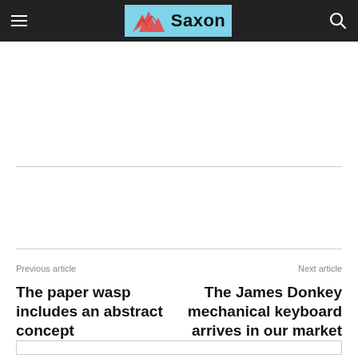Saxon
Previous article
The paper wasp includes an abstract concept
Next article
The James Donkey mechanical keyboard arrives in our market